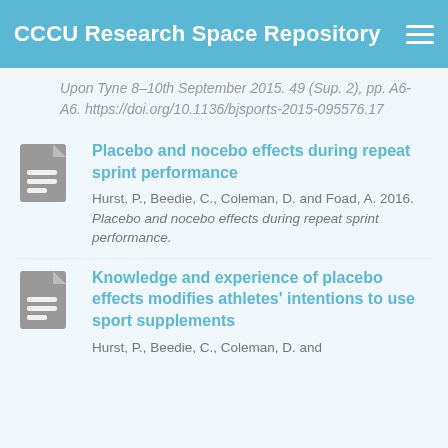CCCU Research Space Repository
Upon Tyne 8–10th September 2015. 49 (Sup. 2), pp. A6-A6. https://doi.org/10.1136/bjsports-2015-095576.17
[Figure (illustration): Gray document icon]
Placebo and nocebo effects during repeat sprint performance
Hurst, P., Beedie, C., Coleman, D. and Foad, A. 2016. Placebo and nocebo effects during repeat sprint performance.
[Figure (illustration): Gray document icon]
Knowledge and experience of placebo effects modifies athletes' intentions to use sport supplements
Hurst, P., Beedie, C., Coleman, D. and